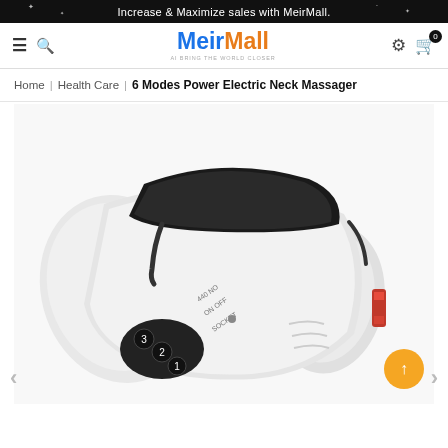Increase & Maximize sales with MeirMall.
[Figure (logo): MeirMall logo with tagline 'AI BRING THE WORLD CLOSER']
Home | Health Care | 6 Modes Power Electric Neck Massager
[Figure (photo): White electric neck massager device with black cushion pad, numbered buttons (1, 2, 3), ON/OFF and SOCKET labels, and red accent, shown at an angle on white background.]